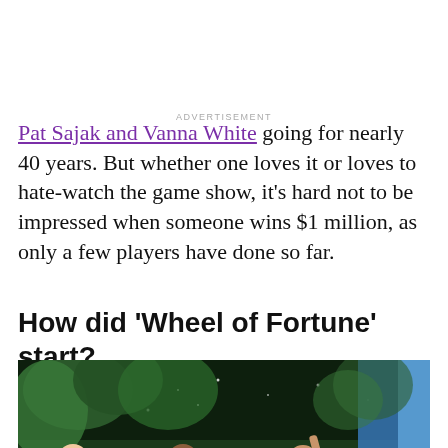Pat Sajak and Vanna White going for nearly 40 years. But whether one loves it or loves to hate-watch the game show, it's hard not to be impressed when someone wins $1 million, as only a few players have done so far.
How did 'Wheel of Fortune' start?
[Figure (photo): Group photo of Wheel of Fortune contestants and hosts on stage with tropical plant backdrop and blue lighting]